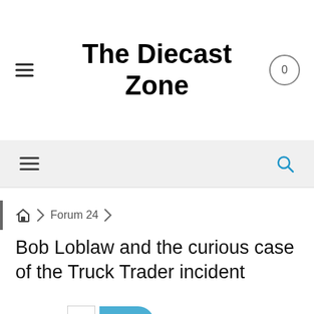The Diecast Zone
Bob Loblaw and the curious case of the Truck Trader incident
Page 1 / 2
FORUM 24
Last Post by Pete Rovero 7 months ago